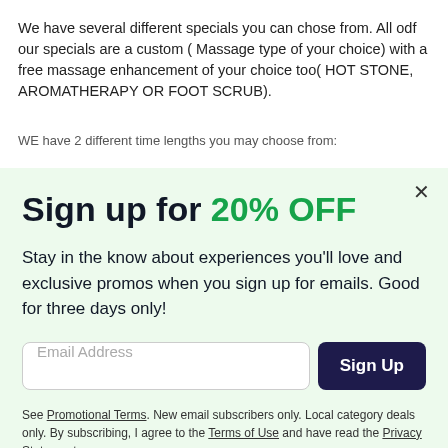We have several different specials you can chose from. All odf our specials are a custom ( Massage type of your choice) with a free massage enhancement of your choice too( HOT STONE, AROMATHERAPY OR FOOT SCRUB).
WE have 2 different time lengths you may choose from:
Sign up for 20% OFF
Stay in the know about experiences you'll love and exclusive promos when you sign up for emails. Good for three days only!
Email Address
Sign Up
See Promotional Terms. New email subscribers only. Local category deals only. By subscribing, I agree to the Terms of Use and have read the Privacy Statement